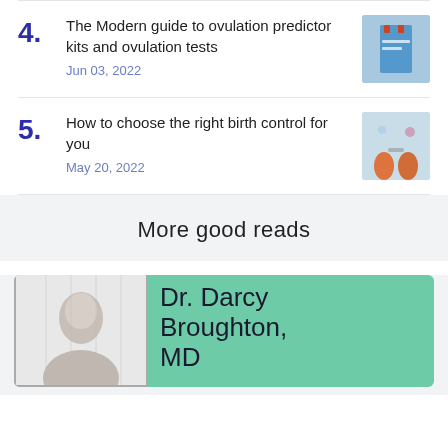4. The Modern guide to ovulation predictor kits and ovulation tests
Jun 03, 2022
5. How to choose the right birth control for you
May 20, 2022
More good reads
Dr. Darcy Broughton, MD